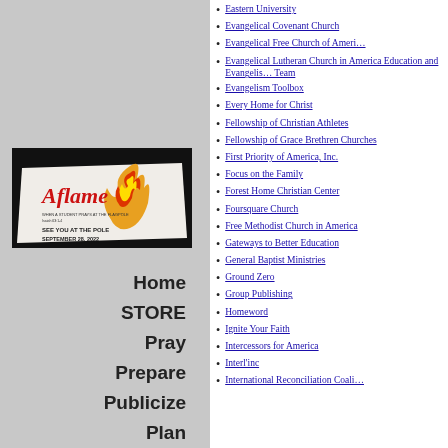[Figure (photo): Aflame promotional image for See You at the Pole, September 28, 2022, showing a flame and torn paper effect with red script text.]
Home
STORE
Pray
Prepare
Publicize
Plan
Press
Eastern University
Evangelical Covenant Church
Evangelical Free Church of America
Evangelical Lutheran Church in America Education and Evangelism Team
Evangelism Toolbox
Every Home for Christ
Fellowship of Christian Athletes
Fellowship of Grace Brethren Churches
First Priority of America, Inc.
Focus on the Family
Forest Home Christian Center
Foursquare Church
Free Methodist Church in America
Gateways to Better Education
General Baptist Ministries
Ground Zero
Group Publishing
Homeword
Ignite Your Faith
Intercessors for America
Interl'inc
International Reconciliation Coalition